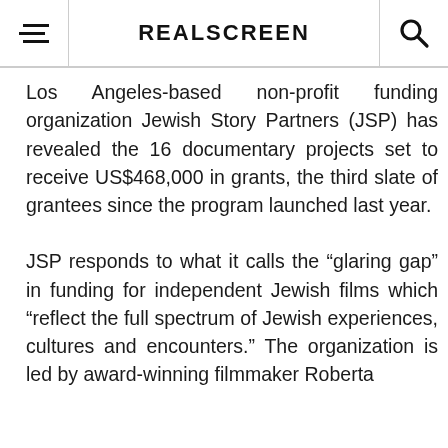REALSCREEN
Los Angeles-based non-profit funding organization Jewish Story Partners (JSP) has revealed the 16 documentary projects set to receive US$468,000 in grants, the third slate of grantees since the program launched last year.
JSP responds to what it calls the “glaring gap” in funding for independent Jewish films which “reflect the full spectrum of Jewish experiences, cultures and encounters.” The organization is led by award-winning filmmaker Roberta